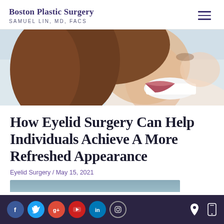Boston Plastic Surgery
SAMUEL LIN, MD, FACS
[Figure (photo): Close-up photo of a smiling woman with brown hair, showing teeth, against a light background]
How Eyelid Surgery Can Help Individuals Achieve A More Refreshed Appearance
Eyelid Surgery / May 15, 2021
[Figure (photo): Partial preview of an article image, cropped at bottom of page]
Social media icons: Facebook, Twitter, Google+, YouTube, LinkedIn, Instagram; Location and mobile icons